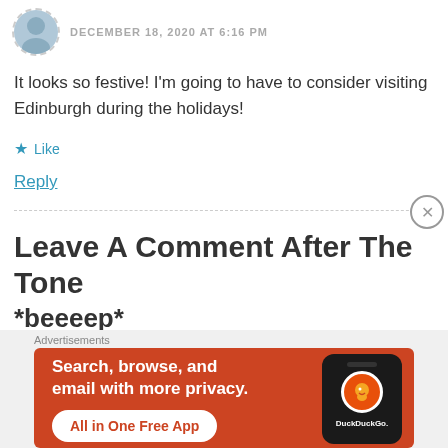DECEMBER 18, 2020 AT 6:16 PM
It looks so festive! I'm going to have to consider visiting Edinburgh during the holidays!
★ Like
Reply
Leave A Comment After The Tone
*beeeep*
[Figure (screenshot): DuckDuckGo advertisement banner: orange background with text 'Search, browse, and email with more privacy. All in One Free App' and a phone graphic with DuckDuckGo logo.]